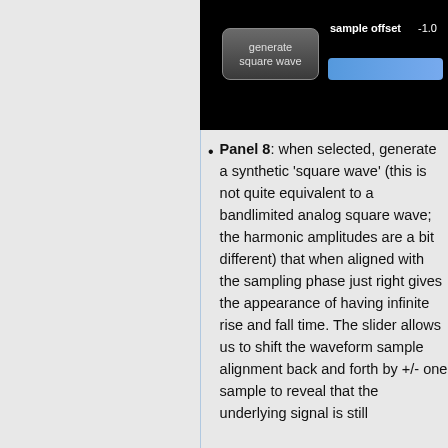[Figure (screenshot): Dark/black UI panel showing a 'generate square wave' button on the left and a 'sample offset' label with value -1.0 and a blue slider on the right]
Panel 8: when selected, generate a synthetic 'square wave' (this is not quite equivalent to a bandlimited analog square wave; the harmonic amplitudes are a bit different) that when aligned with the sampling phase just right gives the appearance of having infinite rise and fall time. The slider allows us to shift the waveform sample alignment back and forth by +/- one sample to reveal that the underlying signal is still